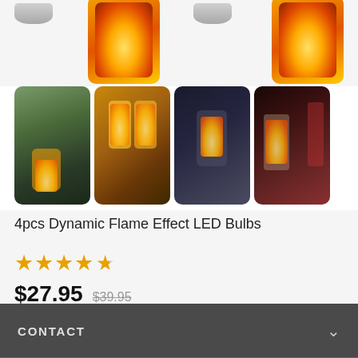[Figure (photo): Top row showing partial product images: two silver/chrome light bulb caps visible at top with flame effect bulb images below them, partially cropped.]
[Figure (photo): Grid of four product lifestyle photos showing flame effect LED bulbs in various lantern and candle settings: outdoor wall lantern, ornate golden lanterns, dark lantern outdoors, and wine glass with candle on romantic table.]
4pcs Dynamic Flame Effect LED Bulbs
★★★★★ (4.5 stars)
$27.95  $39.95
CONTACT